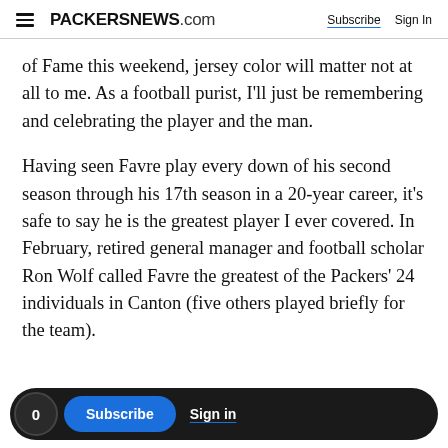PACKERSNEWS.com  Subscribe  Sign In
of Fame this weekend, jersey color will matter not at all to me. As a football purist, I'll just be remembering and celebrating the player and the man.
Having seen Favre play every down of his second season through his 17th season in a 20-year career, it's safe to say he is the greatest player I ever covered. In February, retired general manager and football scholar Ron Wolf called Favre the greatest of the Packers' 24 individuals in Canton (five others played briefly for the team).
0  Subscribe  Sign in